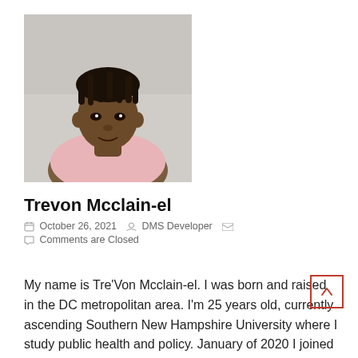[Figure (photo): Portrait photo of Trevon Mcclain-el, a young man with dreadlocks wearing a pink hoodie, photographed indoors against a light background.]
Trevon Mcclain-el
October 26, 2021   DMS Developer   Comments are Closed
My name is Tre'Von Mcclain-el. I was born and raised in the DC metropolitan area. I'm 25 years old, currently ascending Southern New Hampshire University where I study public health and policy. January of 2020 I joined the Damien Ministries staff as a program coordinator where we provide a workforce ready program. I still hold [...]